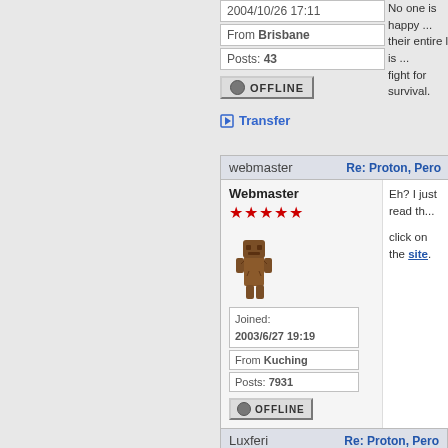2004/10/26 17:11
From Brisbane
Posts: 43
OFFLINE
No one is happy ... their entire life is ... fight for survival.
Transfer
webmaster | Re: Proton, Pero...
Webmaster
Joined: 2003/6/27 19:19
From Kuching
Posts: 7931
OFFLINE
Eh? I just read th... click on the site.
Transfer
Luxferi | Re: Proton, Pero...